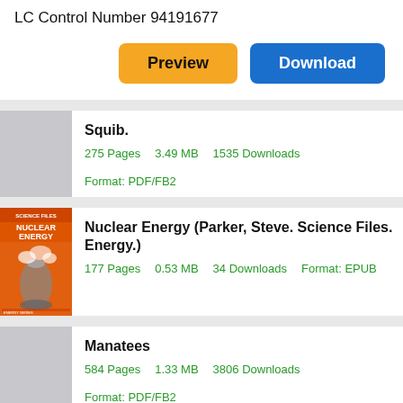LC Control Number  94191677
Preview   Download
Squib.
275 Pages   3.49 MB   1535 Downloads   Format: PDF/FB2
[Figure (illustration): Book cover for Nuclear Energy (Parker, Steve. Science Files. Energy.) — orange cover with nuclear tower imagery]
Nuclear Energy (Parker, Steve. Science Files. Energy.)
177 Pages   0.53 MB   34 Downloads   Format: EPUB
Manatees
584 Pages   1.33 MB   3806 Downloads   Format: PDF/FB2